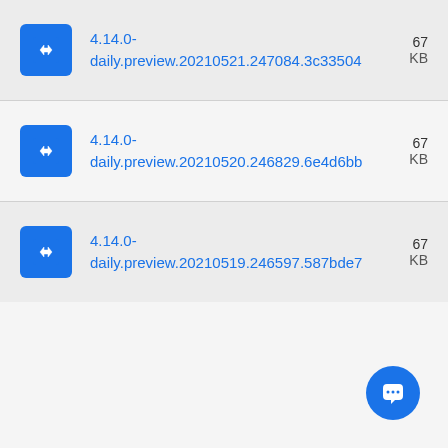4.14.0-daily.preview.20210521.247084.3c33504  67... KB
4.14.0-daily.preview.20210520.246829.6e4d6bb  67... KB
4.14.0-daily.preview.20210519.246597.587bde7  67... KB